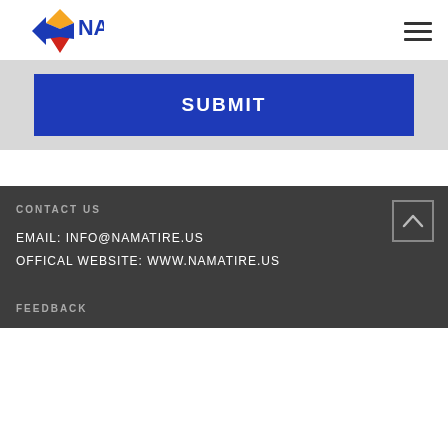NAMA logo and navigation
SUBMIT
CONTACT US
EMAIL: INFO@NAMATIRE.US
OFFICAL WEBSITE: WWW.NAMATIRE.US
FEEDBACK